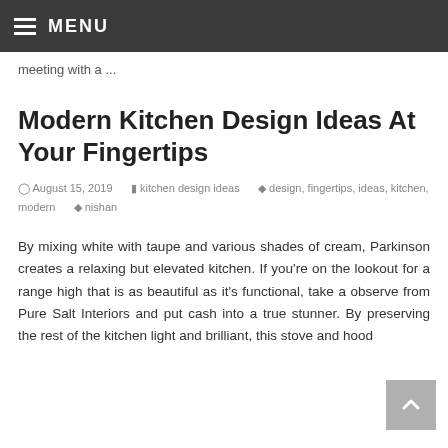≡ MENU
meeting with a ...
Modern Kitchen Design Ideas At Your Fingertips
August 15, 2019   kitchen design ideas   design, fingertips, ideas, kitchen, modern   nishan
By mixing white with taupe and various shades of cream, Parkinson creates a relaxing but elevated kitchen. If you're on the lookout for a range high that is as beautiful as it's functional, take a observe from Pure Salt Interiors and put cash into a true stunner. By preserving the rest of the kitchen light and brilliant, this stove and hood...